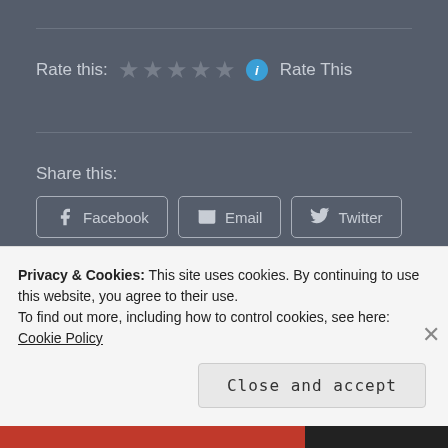Rate this: ★★★★★ ⓘ Rate This
Share this:
[Figure (screenshot): Share buttons: Facebook, Email, Twitter]
[Figure (screenshot): Like button with star icon, and two user avatar thumbnails]
Privacy & Cookies: This site uses cookies. By continuing to use this website, you agree to their use.
To find out more, including how to control cookies, see here: Cookie Policy
Close and accept